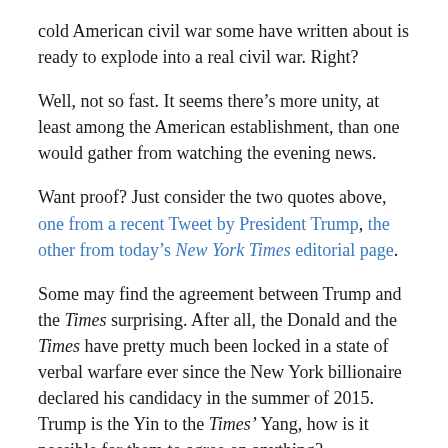cold American civil war some have written about is ready to explode into a real civil war. Right?
Well, not so fast. It seems there’s more unity, at least among the American establishment, than one would gather from watching the evening news.
Want proof? Just consider the two quotes above, one from a recent Tweet by President Trump, the other from today’s New York Times editorial page.
Some may find the agreement between Trump and the Times surprising. After all, the Donald and the Times have pretty much been locked in a state of verbal warfare ever since the New York billionaire declared his candidacy in the summer of 2015. Trump is the Yin to the Times’ Yang, how is it possible for them to agree on anything?